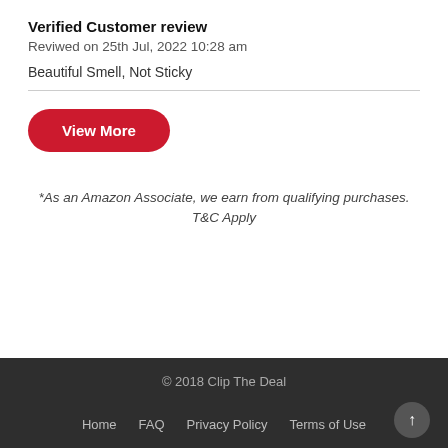Verified Customer review
Reviwed on 25th Jul, 2022 10:28 am
Beautiful Smell, Not Sticky
[Figure (other): Red rounded button labeled 'View More']
*As an Amazon Associate, we earn from qualifying purchases. T&C Apply
© 2018 Clip The Deal   Home   FAQ   Privacy Policy   Terms of Use